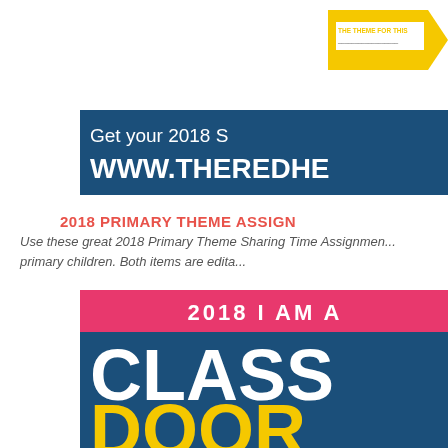[Figure (illustration): Yellow tag/label graphic partially visible in top right corner with text 'THE THEME FOR THIS...' in white on yellow background]
[Figure (illustration): Dark blue banner with text 'Get your 2018 S...' and 'WWW.THEREDHE...' in white, partially cut off on right side]
2018 PRIMARY THEME ASSIGN...
Use these great 2018 Primary Theme Sharing Time Assignmen... primary children. Both items are edita...
[Figure (illustration): Dark blue card with pink/hot-pink top strip reading '2018 I AM A...' and large white bold text 'CLASS...' and large yellow bold text 'DOOR...' visible at bottom, partially cut off]